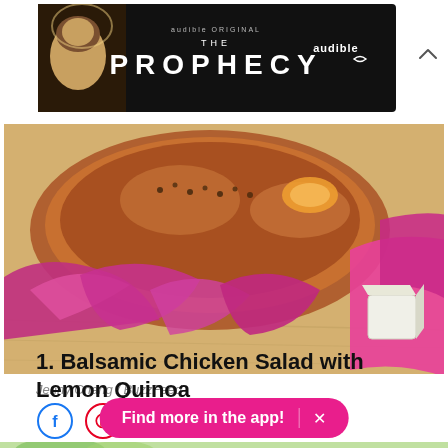[Figure (other): Audible Original advertisement banner for 'The Prophecy' with dark background, face image on left, and Audible logo on right]
[Figure (photo): Close-up food photo showing a baked/roasted dish with purple cabbage leaves and a white cube (cheese or tofu) on a wooden surface with bright magenta/pink fabric]
Jenny Chang / BuzzFeed
[Figure (other): Social sharing buttons: Facebook (blue circle) and Pinterest (red circle)]
1. Balsamic Chicken Salad with Lemon Quinoa
[Figure (other): Pink app CTA button reading 'Find more in the app!' with an X close button]
[Figure (photo): Partial bottom strip showing green leafy vegetables]